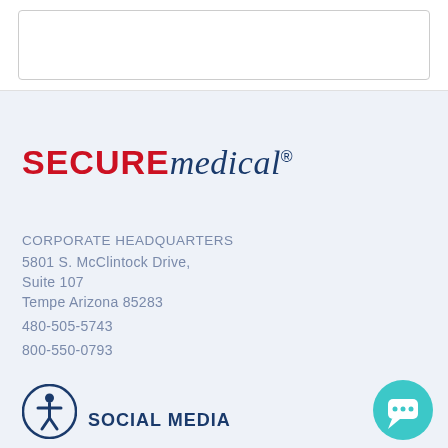[Figure (screenshot): White box/card area at top of page (partial screenshot content)]
[Figure (logo): Secure Medical logo: SECURE in bold red uppercase, medical in blue italic serif, with registered trademark symbol]
CORPORATE HEADQUARTERS
5801 S. McClintock Drive,
Suite 107
Tempe Arizona 85283
480-505-5743
800-550-0793
SOCIAL MEDIA
[Figure (illustration): Accessibility icon: blue circle with white person/wheelchair symbol]
[Figure (illustration): Teal chat bubble icon (bottom right corner)]